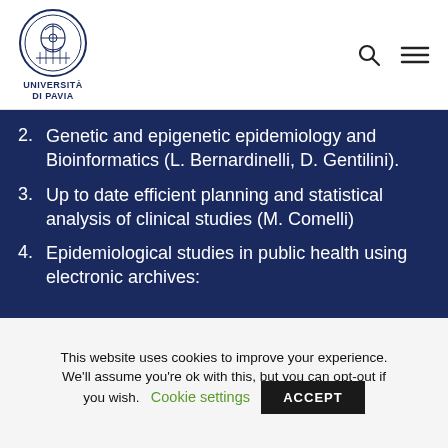UNIVERSITÀ DI PAVIA
2. Genetic and epigenetic epidemiology and Bioinformatics (L. Bernardinelli, D. Gentilini).
3. Up to date efficient planning and statistical analysis of clinical studies (M. Comelli)
4. Epidemiological studies in public health using electronic archives:
This website uses cookies to improve your experience. We'll assume you're ok with this, but you can opt-out if you wish. Cookie settings ACCEPT